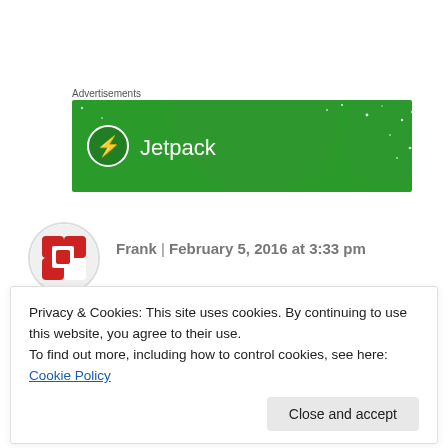Advertisements
[Figure (illustration): Jetpack advertisement banner with green background, circular decorative elements, white stars, and Jetpack logo with lightning bolt icon.]
Frank | February 5, 2016 at 3:33 pm
Privacy & Cookies: This site uses cookies. By continuing to use this website, you agree to their use.
To find out more, including how to control cookies, see here: Cookie Policy
Close and accept